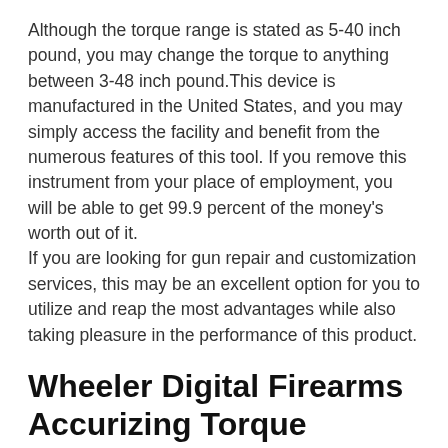Although the torque range is stated as 5-40 inch pound, you may change the torque to anything between 3-48 inch pound.This device is manufactured in the United States, and you may simply access the facility and benefit from the numerous features of this tool. If you remove this instrument from your place of employment, you will be able to get 99.9 percent of the money's worth out of it.
If you are looking for gun repair and customization services, this may be an excellent option for you to utilize and reap the most advantages while also taking pleasure in the performance of this product.
Wheeler Digital Firearms Accurizing Torque Wrench
The Wheeler Digital Firearms Accurizing Torque